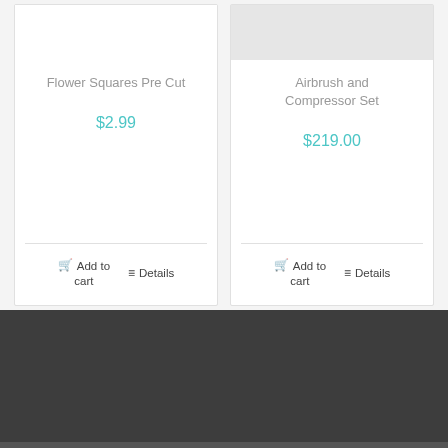[Figure (screenshot): Product card for Flower Squares Pre Cut showing white image area, gray title text, teal price $2.99, divider line, and Add to cart / Details buttons]
Flower Squares Pre Cut
$2.99
Add to cart
Details
[Figure (screenshot): Product card for Airbrush and Compressor Set showing light gray image area, gray title text, teal price $219.00, divider line, and Add to cart / Details buttons]
Airbrush and Compressor Set
$219.00
Add to cart
Details